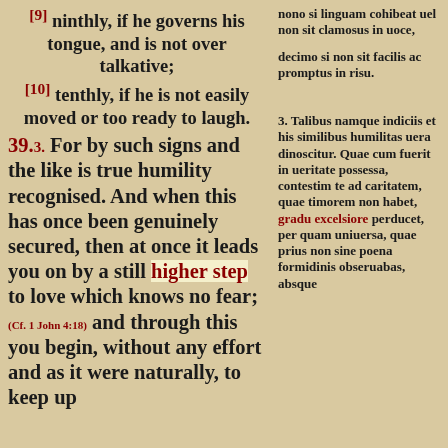[9] ninthly, if he governs his tongue, and is not over talkative;
[10] tenthly, if he is not easily moved or too ready to laugh.
39.3. For by such signs and the like is true humility recognised. And when this has once been genuinely secured, then at once it leads you on by a still higher step to love which knows no fear; (Cf. 1 John 4:18) and through this you begin, without any effort and as it were naturally, to keep up
nono si linguam cohibeat uel non sit clamosus in uoce,
decimo si non sit facilis ac promptus in risu.
3. Talibus namque indiciis et his similibus humilitas uera dinoscitur. Quae cum fuerit in ueritate possessa, contestim te ad caritatem, quae timorem non habet, gradu excelsiore perducet, per quam uniuersa, quae prius non sine poena formidinis obseruabas, absque